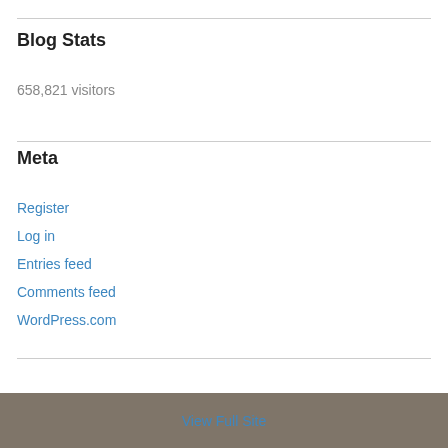Blog Stats
658,821 visitors
Meta
Register
Log in
Entries feed
Comments feed
WordPress.com
View Full Site